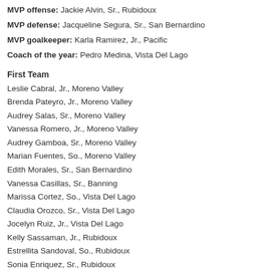MVP offense: Jackie Alvin, Sr., Rubidoux
MVP defense: Jacqueline Segura, Sr., San Bernardino
MVP goalkeeper: Karla Ramirez, Jr., Pacific
Coach of the year: Pedro Medina, Vista Del Lago
First Team
Leslie Cabral, Jr., Moreno Valley
Brenda Pateyro, Jr., Moreno Valley
Audrey Salas, Sr., Moreno Valley
Vanessa Romero, Jr., Moreno Valley
Audrey Gamboa, Sr., Moreno Valley
Marian Fuentes, So., Moreno Valley
Edith Morales, Sr., San Bernardino
Vanessa Casillas, Sr., Banning
Marissa Cortez, So., Vista Del Lago
Claudia Orozco, Sr., Vista Del Lago
Jocelyn Ruiz, Jr., Vista Del Lago
Kelly Sassaman, Jr., Rubidoux
Estrellita Sandoval, So., Rubidoux
Sonia Enriquez, Sr., Rubidoux
Continue reading “Mountain Valley League: all-league girls soccer 20…”